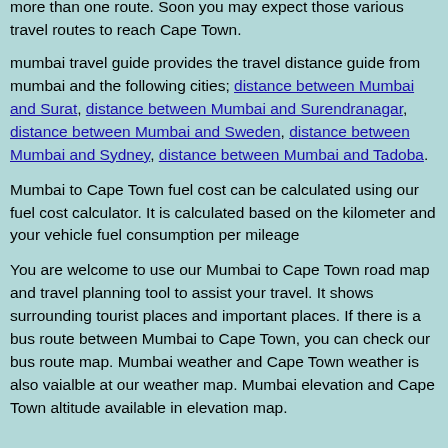more than one route. Soon you may expect those various travel routes to reach Cape Town.
mumbai travel guide provides the travel distance guide from mumbai and the following cities; distance between Mumbai and Surat, distance between Mumbai and Surendranagar, distance between Mumbai and Sweden, distance between Mumbai and Sydney, distance between Mumbai and Tadoba.
Mumbai to Cape Town fuel cost can be calculated using our fuel cost calculator. It is calculated based on the kilometer and your vehicle fuel consumption per mileage
You are welcome to use our Mumbai to Cape Town road map and travel planning tool to assist your travel. It shows surrounding tourist places and important places. If there is a bus route between Mumbai to Cape Town, you can check our bus route map. Mumbai weather and Cape Town weather is also vaialble at our weather map. Mumbai elevation and Cape Town altitude available in elevation map.